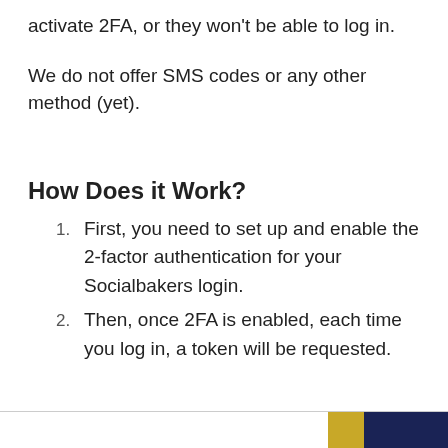activate 2FA, or they won't be able to log in.
We do not offer SMS codes or any other method (yet).
How Does it Work?
First, you need to set up and enable the 2-factor authentication for your Socialbakers login.
Then, once 2FA is enabled, each time you log in, a token will be requested.
[Figure (logo): Footer logo with gold and navy blue color blocks]